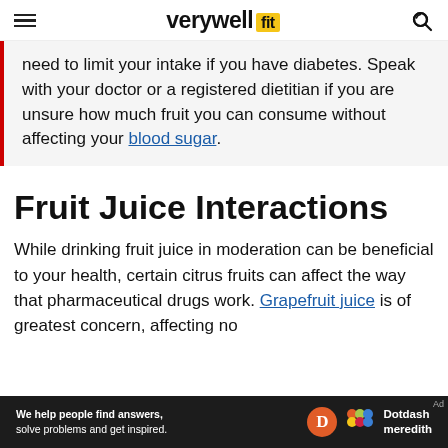verywell fit
need to limit your intake if you have diabetes. Speak with your doctor or a registered dietitian if you are unsure how much fruit you can consume without affecting your blood sugar.
Fruit Juice Interactions
While drinking fruit juice in moderation can be beneficial to your health, certain citrus fruits can affect the way that pharmaceutical drugs work. Grapefruit juice is of greatest concern, affecting no
[Figure (other): Dotdash Meredith advertisement banner at bottom of page]